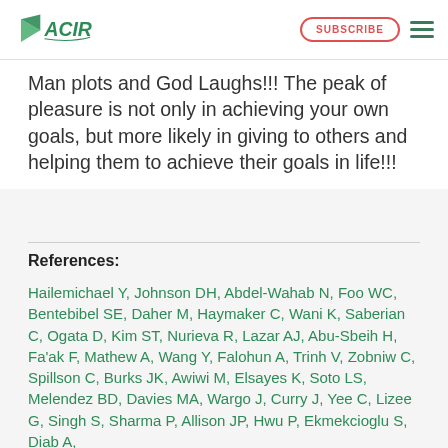ACIR | SUBSCRIBE
Man plots and God Laughs!!! The peak of pleasure is not only in achieving your own goals, but more likely in giving to others and helping them to achieve their goals in life!!!
References:
Hailemichael Y, Johnson DH, Abdel-Wahab N, Foo WC, Bentebibel SE, Daher M, Haymaker C, Wani K, Saberian C, Ogata D, Kim ST, Nurieva R, Lazar AJ, Abu-Sbeih H, Fa'ak F, Mathew A, Wang Y, Falohun A, Trinh V, Zobniw C, Spillson C, Burks JK, Awiwi M, Elsayes K, Soto LS, Melendez BD, Davies MA, Wargo J, Curry J, Yee C, Lizee G, Singh S, Sharma P, Allison JP, Hwu P, Ekmekcioglu S, Diab A,